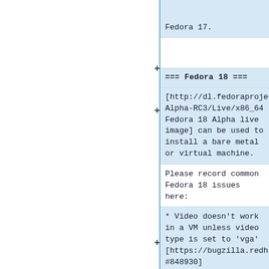Fedora 17.
=== Fedora 18 ===
[http://dl.fedoraproject.org/pub/alt/stage/18-Alpha-RC3/Live/x86_64 Fedora 18 Alpha live image] can be used to install a bare metal or virtual machine.
Please record common Fedora 18 issues here:
* Video doesn't work in a VM unless video type is set to 'vga' [https://bugzilla.redhat.com/848930 #848930]
* Auto partitioning wipes the disk without